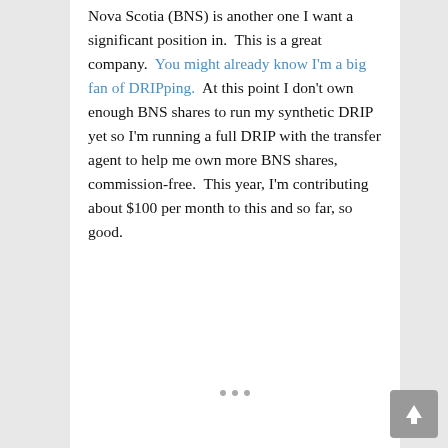Nova Scotia (BNS) is another one I want a significant position in.  This is a great company.  You might already know I'm a big fan of DRIPping.  At this point I don't own enough BNS shares to run my synthetic DRIP yet so I'm running a full DRIP with the transfer agent to help me own more BNS shares, commission-free.  This year, I'm contributing about $100 per month to this and so far, so good.